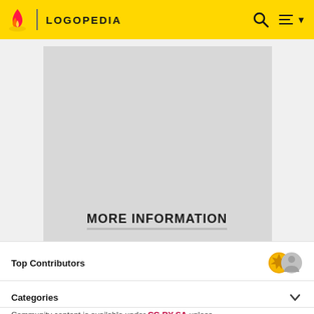LOGOPEDIA
[Figure (screenshot): Advertisement placeholder — large grey rectangle with ADVERTISEMENT label below]
MORE INFORMATION
Top Contributors
Categories
Community content is available under CC-BY-SA unless